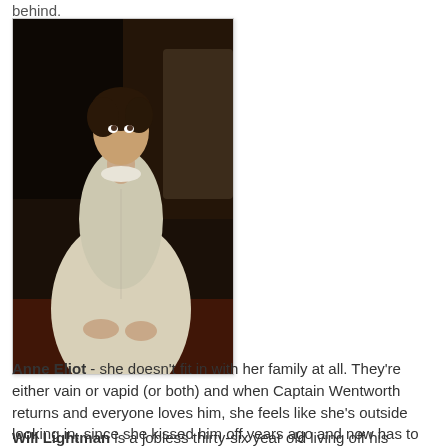behind.
[Figure (photo): A woman in a period white/cream dress sitting, looking upward, in a dark interior setting. Appears to be a film or TV still.]
Anne Eliot - she doesn't fit in with her family at all.  They're either vain or vapid (or both) and when Captain Wentworth returns and everyone loves him, she feels like she's outside looking in, since she kissed him off years ago and now has to avoid him.
Will Lightman is a jobless thirty-six year old living off his